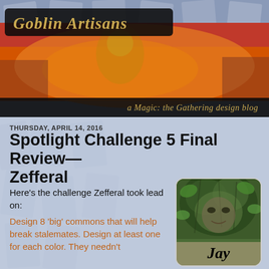[Figure (illustration): Goblin Artisans blog header with goblin artwork on orange/brown background, black title bar reading 'Goblin Artisans' and subtitle bar reading 'a Magic: the Gathering design blog']
Goblin Artisans — a Magic: the Gathering design blog
THURSDAY, APRIL 14, 2016
Spotlight Challenge 5 Final Review—Zefferal
Here's the challenge Zefferal took lead on:
Design 8 'big' commons that will help break stalemates. Design at least one for each color. They needn't
[Figure (illustration): Avatar image of a tree creature/face with foliage, labeled 'Jay' at the bottom]